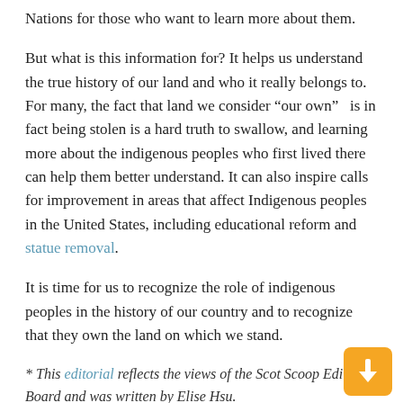Nations for those who want to learn more about them.
But what is this information for? It helps us understand the true history of our land and who it really belongs to. For many, the fact that land we consider “our own” is in fact being stolen is a hard truth to swallow, and learning more about the indigenous peoples who first lived there can help them better understand. It can also inspire calls for improvement in areas that affect Indigenous peoples in the United States, including educational reform and statue removal.
It is time for us to recognize the role of indigenous peoples in the history of our country and to recognize that they own the land on which we stand.
* This editorial reflects the views of the Scot Scoop Editorial Board and was written by Elise Hsu.
Print
Related Posts: